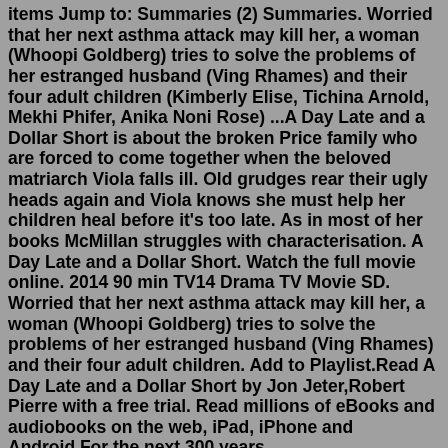items Jump to: Summaries (2) Summaries. Worried that her next asthma attack may kill her, a woman (Whoopi Goldberg) tries to solve the problems of her estranged husband (Ving Rhames) and their four adult children (Kimberly Elise, Tichina Arnold, Mekhi Phifer, Anika Noni Rose) ...A Day Late and a Dollar Short is about the broken Price family who are forced to come together when the beloved matriarch Viola falls ill. Old grudges rear their ugly heads again and Viola knows she must help her children heal before it's too late. As in most of her books McMillan struggles with characterisation. A Day Late and a Dollar Short. Watch the full movie online. 2014 90 min TV14 Drama TV Movie SD. Worried that her next asthma attack may kill her, a woman (Whoopi Goldberg) tries to solve the problems of her estranged husband (Ving Rhames) and their four adult children. Add to Playlist.Read A Day Late and a Dollar Short by Jon Jeter,Robert Pierre with a free trial. Read millions of eBooks and audiobooks on the web, iPad, iPhone and Android.For the next 300 years.